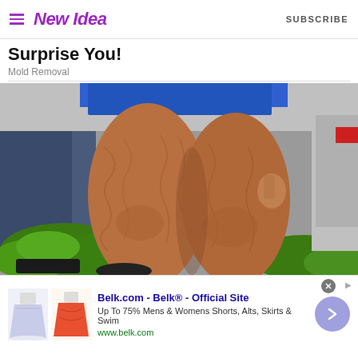New Idea | SUBSCRIBE
Surprise You!
Mold Removal
[Figure (photo): Close-up photo of a person's bare legs with cellulite, wearing a blue outfit, standing on pavement near green shrubbery. Another person in jeans is visible behind them. Part of a car is visible on the right.]
Belk.com - Belk® - Official Site
Up To 75% Mens & Womens Shorts, Alts, Skirts & Swim
www.belk.com